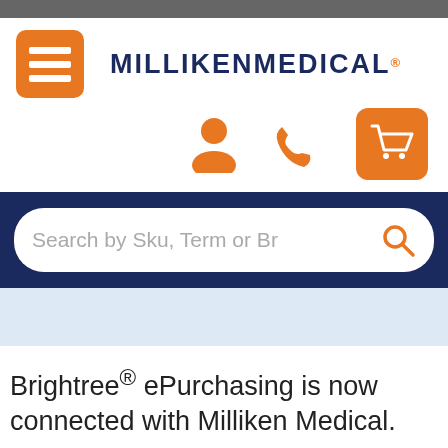[Figure (screenshot): Milliken Medical website header with hamburger menu, logo, user/phone/cart icons, search bar, and introductory text about Brightree ePurchasing]
MILLIKEN MEDICAL®
Search by Sku, Term or Brand
Brightree® ePurchasing is now connected with Milliken Medical.